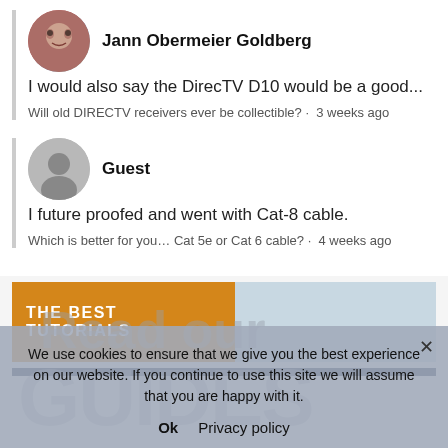Jann Obermeier Goldberg — I would also say the DirecTV D10 would be a good... | Will old DIRECTV receivers ever be collectible? · 3 weeks ago
Guest — I future proofed and went with Cat-8 cable. | Which is better for you… Cat 5e or Cat 6 cable? · 4 weeks ago
THE BEST TUTORIALS
We use cookies to ensure that we give you the best experience on our website. If you continue to use this site we will assume that you are happy with it.
Ok  Privacy policy